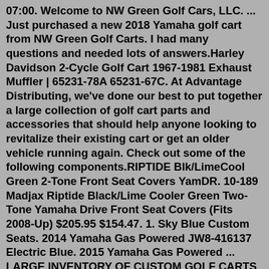07:00. Welcome to NW Green Golf Cars, LLC. ... Just purchased a new 2018 Yamaha golf cart from NW Green Golf Carts. I had many questions and needed lots of answers.Harley Davidson 2-Cycle Golf Cart 1967-1981 Exhaust Muffler | 65231-78A 65231-67C. At Advantage Distributing, we've done our best to put together a large collection of golf cart parts and accessories that should help anyone looking to revitalize their existing cart or get an older vehicle running again. Check out some of the following components.RIPTIDE Blk/LimeCool Green 2-Tone Front Seat Covers YamDR. 10-189 Madjax Riptide Black/Lime Cooler Green Two-Tone Yamaha Drive Front Seat Covers (Fits 2008-Up) $205.95 $154.47. 1. Sky Blue Custom Seats. 2014 Yamaha Gas Powered JW8-416137 Electric Blue. 2015 Yamaha Gas Powered ... LARGE INVENTORY OF CUSTOM GOLF CARTS FOR SALE. ... repair (by factory-trained technicians), parts and accessories can all be found at our shop. We feature Yamaha and Star Electric brand golf carts, plus we have pre-owned